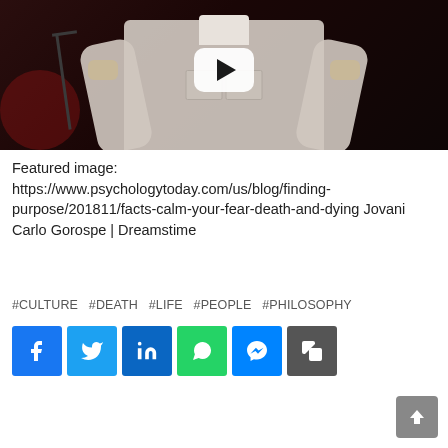[Figure (screenshot): Video thumbnail showing a person in a white shirt on a dark stage, with a white play button overlay in the center]
Featured image: https://www.psychologytoday.com/us/blog/finding-purpose/201811/facts-calm-your-fear-death-and-dying Jovani Carlo Gorospe | Dreamstime
#CULTURE  #DEATH  #LIFE  #PEOPLE  #PHILOSOPHY
[Figure (infographic): Social share buttons: Facebook, Twitter, LinkedIn, WhatsApp, Messenger, Copy link]